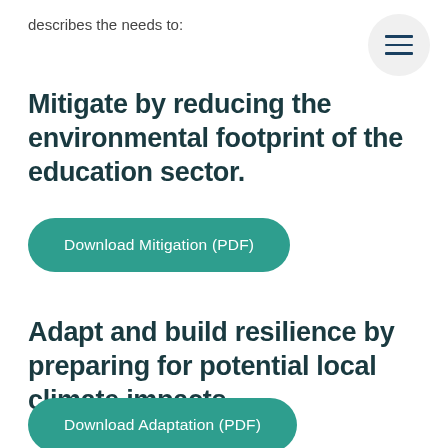describes the needs to:
Mitigate by reducing the environmental footprint of the education sector.
Download Mitigation (PDF)
Adapt and build resilience by preparing for potential local climate impacts.
Download Adaptation (PDF)